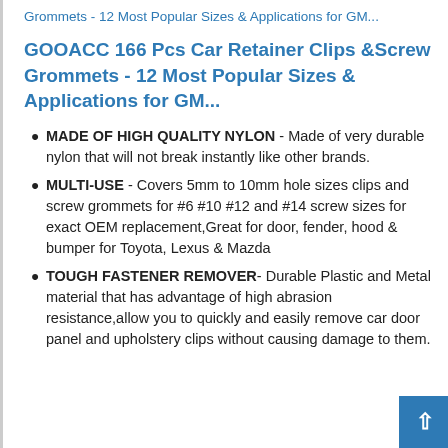Grommets - 12 Most Popular Sizes & Applications for GM...
GOOACC 166 Pcs Car Retainer Clips &Screw Grommets - 12 Most Popular Sizes & Applications for GM...
MADE OF HIGH QUALITY NYLON - Made of very durable nylon that will not break instantly like other brands.
MULTI-USE - Covers 5mm to 10mm hole sizes clips and screw grommets for #6 #10 #12 and #14 screw sizes for exact OEM replacement,Great for door, fender, hood & bumper for Toyota, Lexus & Mazda
TOUGH FASTENER REMOVER- Durable Plastic and Metal material that has advantage of high abrasion resistance,allow you to quickly and easily remove car door panel and upholstery clips without causing damage to them.